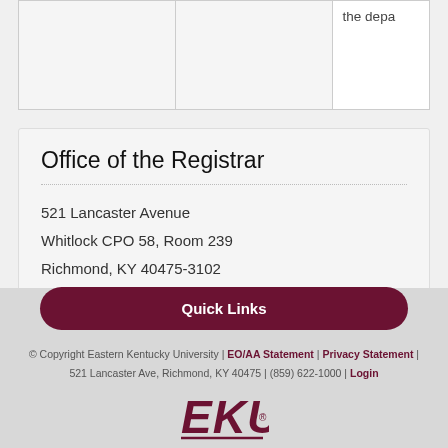|  |  |  |
| --- | --- | --- |
|  |  | the depa |
Office of the Registrar
521 Lancaster Avenue
Whitlock CPO 58, Room 239
Richmond, KY 40475-3102
Phone: (859) 622-2320
Fax: (859) 622-6207
Quick Links
© Copyright Eastern Kentucky University | EO/AA Statement | Privacy Statement | 521 Lancaster Ave, Richmond, KY 40475 | (859) 622-1000 | Login
[Figure (logo): EKU logo in maroon italic letters]